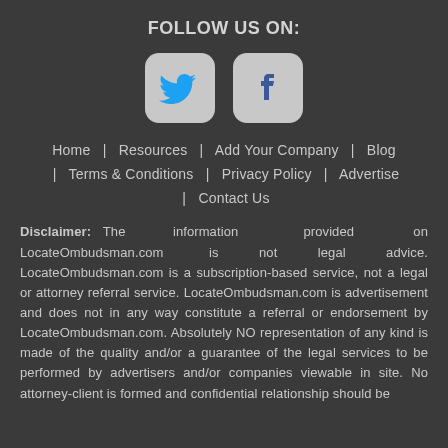FOLLOW US ON:
[Figure (illustration): Twitter and Facebook social media icon buttons with rounded square white/light-gray backgrounds]
Home  |  Resources  |  Add Your Company  |  Blog  |  Terms & Conditions  |  Privacy Policy  |  Advertise  |  Contact Us
Disclaimer: The information provided on LocateOmbudsman.com is not legal advice. LocateOmbudsman.com is a subscription-based service, not a legal or attorney referral service. LocateOmbudsman.com is advertisement and does not in any way constitute a referral or endorsement by LocateOmbudsman.com. Absolutely NO representation of any kind is made of the quality and/or a guarantee of the legal services to be performed by advertisers and/or companies viewable in site. No attorney-client is formed and confidential relationship should be